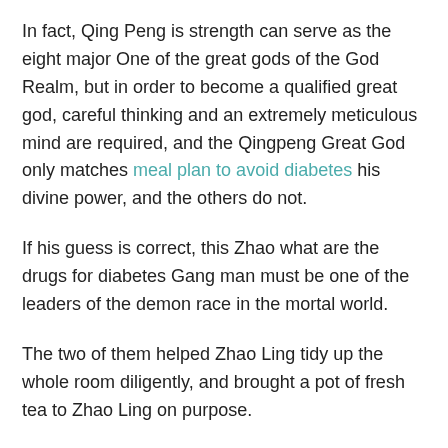In fact, Qing Peng is strength can serve as the eight major One of the great gods of the God Realm, but in order to become a qualified great god, careful thinking and an extremely meticulous mind are required, and the Qingpeng Great God only matches meal plan to avoid diabetes his divine power, and the others do not.
If his guess is correct, this Zhao what are the drugs for diabetes Gang man must be one of the leaders of the demon race in the mortal world.
The two of them helped Zhao Ling tidy up the whole room diligently, and brought a pot of fresh tea to Zhao Ling on purpose.
The reason for sitting at the back has only one simple purpose, that is, do .